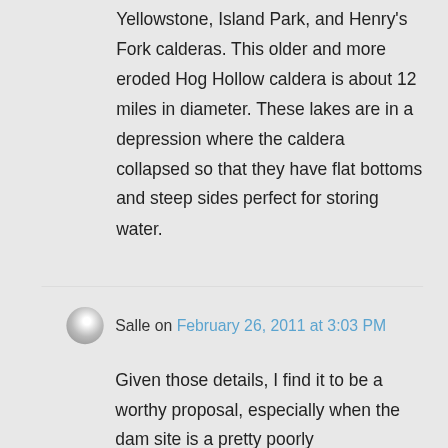Yellowstone, Island Park, and Henry's Fork calderas. This older and more eroded Hog Hollow caldera is about 12 miles in diameter. These lakes are in a depression where the caldera collapsed so that they have flat bottoms and steep sides perfect for storing water.
Salle on February 26, 2011 at 3:03 PM
Given those details, I find it to be a worthy proposal, especially when the dam site is a pretty poorly